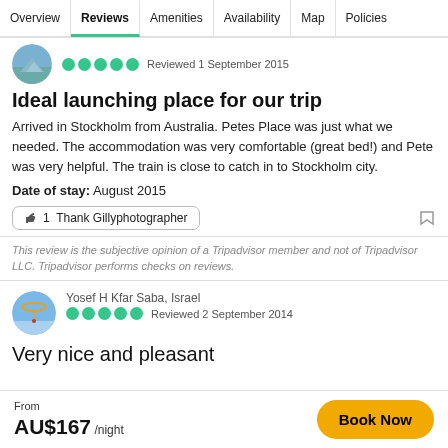Overview | Reviews | Amenities | Availability | Map | Policies
[Figure (photo): Reviewer avatar: mountain/nature photo in circle]
Reviewed 1 September 2015
Ideal launching place for our trip
Arrived in Stockholm from Australia. Petes Place was just what we needed. The accommodation was very comfortable (great bed!) and Pete was very helpful. The train is close to catch in to Stockholm city.
Date of stay: August 2015
👍 1  Thank Gillyphotographer
This review is the subjective opinion of a Tripadvisor member and not of Tripadvisor LLC. Tripadvisor performs checks on reviews.
[Figure (photo): Reviewer avatar: paragliding photo in circle, Yosef H Kfar Saba, Israel]
Yosef H Kfar Saba, Israel
Reviewed 2 September 2014
Very nice and pleasant
From
AU$167 /night
Book Now